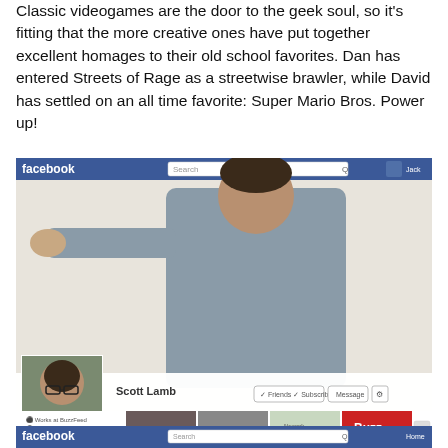Classic videogames are the door to the geek soul, so it's fitting that the more creative ones have put together excellent homages to their old school favorites. Dan has entered Streets of Rage as a streetwise brawler, while David has settled on an all time favorite: Super Mario Bros. Power up!
[Figure (screenshot): A Facebook profile page screenshot overlaid with a real photo of a man in a grey shirt with his arm extended, posed as if he is a character in the Facebook UI. The profile belongs to Scott Lamb, showing friends, photos, map, and likes sections. Below is a partial second Facebook screenshot showing a green object.]